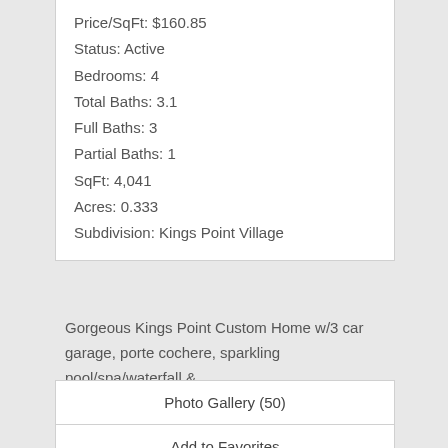Price/SqFt: $160.85
Status: Active
Bedrooms: 4
Total Baths: 3.1
Full Baths: 3
Partial Baths: 1
SqFt: 4,041
Acres: 0.333
Subdivision: Kings Point Village
Gorgeous Kings Point Custom Home w/3 car garage, porte cochere, sparkling pool/spa/waterfall &...
Photo Gallery (50)
Add to Favorites
View Details